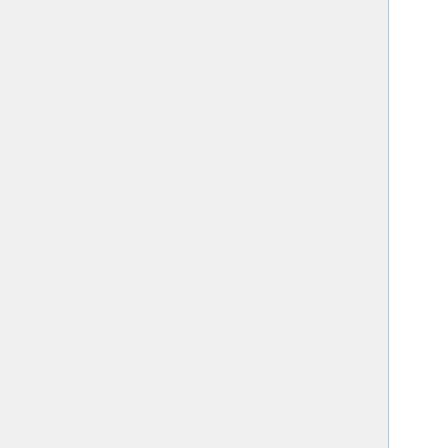example, the title of the second chapter is, "The Diceman Cometh", a pun on O'Neill's play, "The Iceman Cometh"; a history of the mathematician Siméon-Denis Poisson and his contribution to probability and statistics is coupled with a section called, "Other fish to fry;" the astronomer Edmond Halley is brought